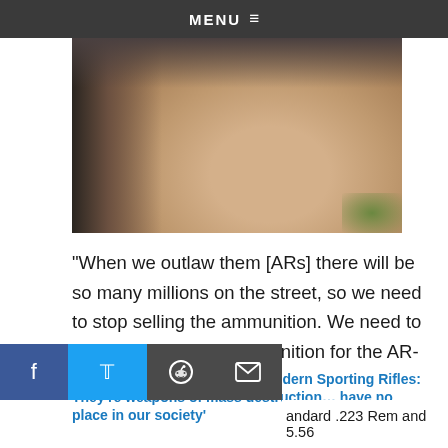MENU ≡
[Figure (photo): Close-up photograph of a hand gripping a firearm, with a watch strap visible on the wrist. Dark background on left, skin tones in center, green foliage visible at bottom right.]
"When we outlaw them [ARs] there will be so many millions on the street, so we need to stop selling the ammunition. We need to stop producing the ammunition for the AR-15," she explained.
SEE ALSO: CA Governor on Modern Sporting Rifles: They're weapons of mass destruction… have no place in our society'
andard .223 Rem and 5.56